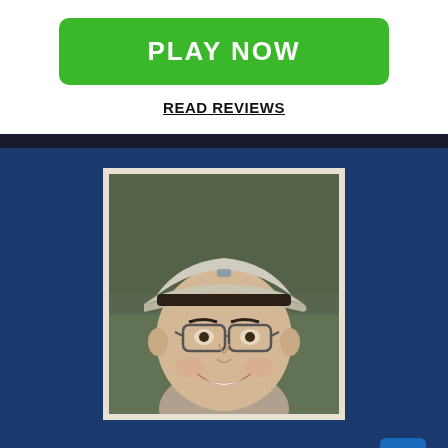PLAY NOW
READ REVIEWS
[Figure (photo): Portrait photo of Manuël Brusse, a man wearing a light gray baseball cap and glasses, smiling, outdoor setting with blurred background]
Manuël Brusse
Manuël Brusse uses ten years of experience in the field